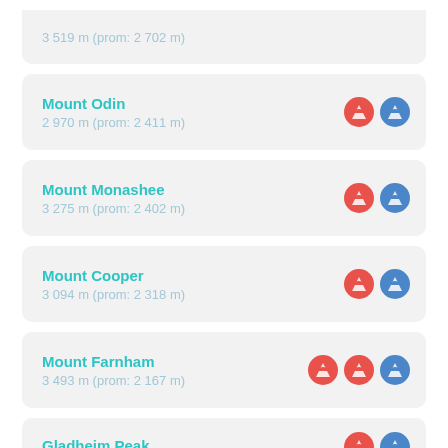3 519 m (prom: 2 702 m)
Mount Odin
2 970 m (prom: 2 411 m)
Mount Monashee
3 275 m (prom: 2 402 m)
Mount Cooper
3 094 m (prom: 2 318 m)
Mount Farnham
3 493 m (prom: 2 167 m)
Gladheim Peak